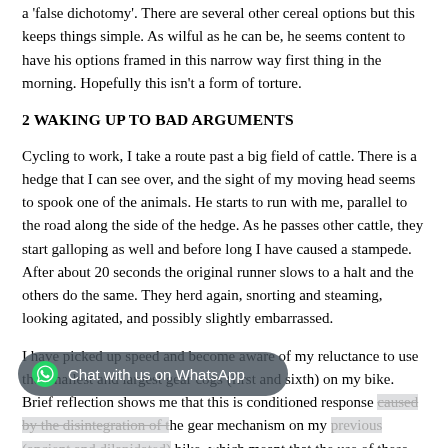a 'false dichotomy'. There are several other cereal options but this keeps things simple. As wilful as he can be, he seems content to have his options framed in this narrow way first thing in the morning. Hopefully this isn't a form of torture.
2 WAKING UP TO BAD ARGUMENTS
Cycling to work, I take a route past a big field of cattle. There is a hedge that I can see over, and the sight of my moving head seems to spook one of the animals. He starts to run with me, parallel to the road along the side of the hedge. As he passes other cattle, they start galloping as well and before long I have caused a stampede. After about 20 seconds the original runner slows to a halt and the others do the same. They herd again, snorting and steaming, looking agitated, and possibly slightly embarrassed.
I have picked up speed and become aware of my reluctance to use the smallest and largest gear cogs (first and sixth) on my bike. Brief reflection shows me that this is conditioned response caused by the disintegration of the gear mechanism on my previous (ancient and dilapidated) bike, which meant that the use of these gears ran a high risk of the chain falling off. There is no